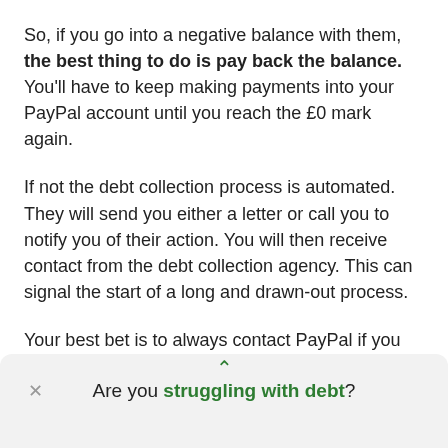So, if you go into a negative balance with them, the best thing to do is pay back the balance. You'll have to keep making payments into your PayPal account until you reach the £0 mark again.
If not the debt collection process is automated. They will send you either a letter or call you to notify you of their action. You will then receive contact from the debt collection agency. This can signal the start of a long and drawn-out process.
Your best bet is to always contact PayPal if you have an
Are you struggling with debt?